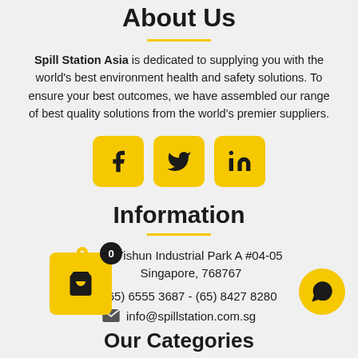About Us
Spill Station Asia is dedicated to supplying you with the world's best environment health and safety solutions. To ensure your best outcomes, we have assembled our range of best quality solutions from the world's premier suppliers.
[Figure (illustration): Three yellow square social media icon buttons: Facebook, Twitter, LinkedIn]
Information
61 Yishun Industrial Park A #04-05 Singapore, 768767
(65) 6555 3687 - (65) 8427 8280
info@spillstation.com.sg
Our Categories